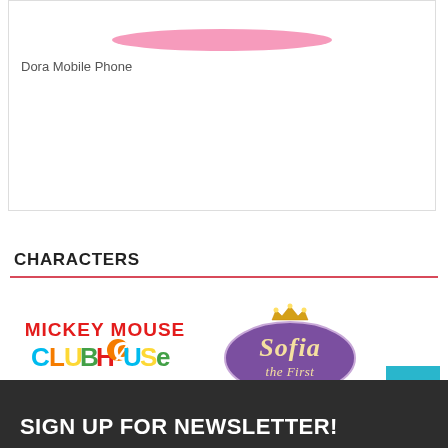[Figure (photo): Partial view of a pink Dora Mobile Phone product image at the top of a product card]
Dora Mobile Phone
CHARACTERS
[Figure (logo): Mickey Mouse Clubhouse logo in red, cyan, orange, and yellow colors]
[Figure (logo): Sofia the First logo in purple and gold on a purple oval badge]
SIGN UP FOR NEWSLETTER!